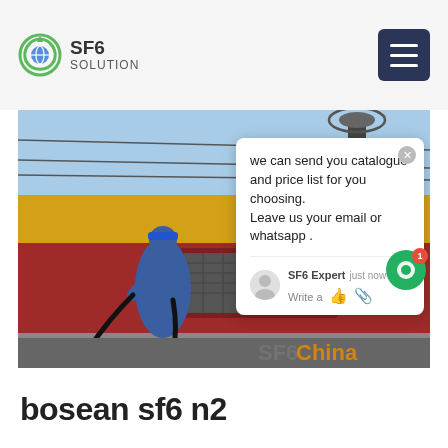SF6 SOLUTION
[Figure (photo): A worker in blue coveralls and blue hard hat operating SF6 gas equipment beside a red and yellow industrial vehicle or transformer truck, outdoor substation setting. Chat popup overlay visible with message: we can send you catalogue and price list for you choosing. Leave us your email or whatsapp. SF6 Expert - just now. Watermark reads SF6China.]
bosean sf6 n2